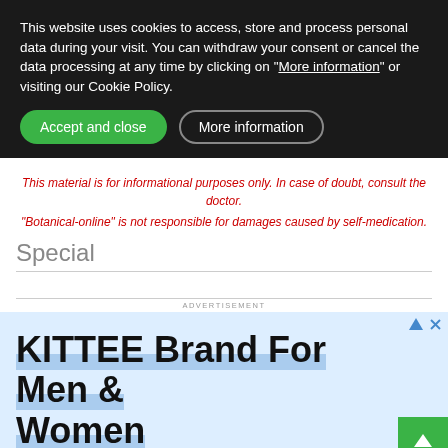This website uses cookies to access, store and process personal data during your visit. You can withdraw your consent or cancel the data processing at any time by clicking on "More information" or visiting our Cookie Policy.
Accept and close
More information
This material is for informational purposes only. In case of doubt, consult the doctor.
"Botanical-online" is not responsible for damages caused by self-medication.
Special
ADVERTISEMENT
[Figure (other): Advertisement banner showing 'KITTEE Brand For Men & Women' text with blue underline highlight on a light blue background. Includes ad controls (triangle and X icons) and a green back-to-top arrow button in bottom right corner.]